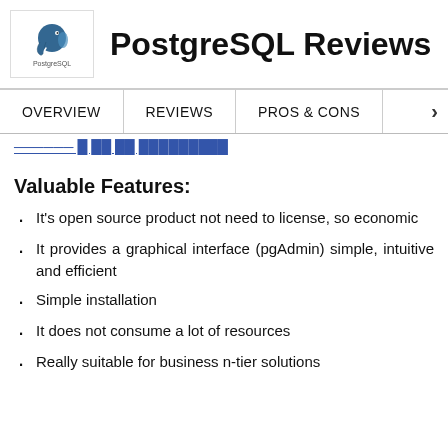PostgreSQL Reviews
[Figure (logo): PostgreSQL elephant logo]
OVERVIEW   REVIEWS   PROS & CONS
[truncated underlined text — partially visible]
Valuable Features:
It's open source product not need to license, so economic
It provides a graphical interface (pgAdmin) simple, intuitive and efficient
Simple installation
It does not consume a lot of resources
Really suitable for business n-tier solutions